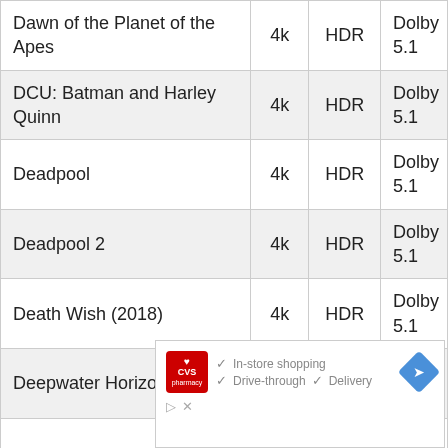| Title | Resolution | HDR | Audio |
| --- | --- | --- | --- |
| Dawn of the Planet of the Apes | 4k | HDR | Dolby 5.1 |
| DCU: Batman and Harley Quinn | 4k | HDR | Dolby 5.1 |
| Deadpool | 4k | HDR | Dolby 5.1 |
| Deadpool 2 | 4k | HDR | Dolby 5.1 |
| Death Wish (2018) | 4k | HDR | Dolby 5.1 |
| Deepwater Horizon | 4k | HDR | Dolby 5.1 |
[Figure (other): CVS Pharmacy advertisement banner showing in-store shopping, drive-through, and delivery services with a navigation icon]